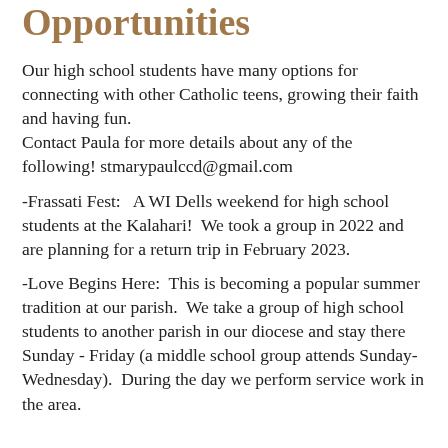Opportunities
Our high school students have many options for connecting with other Catholic teens, growing their faith and having fun.
Contact Paula for more details about any of the following! stmarypaulccd@gmail.com
-Frassati Fest:   A WI Dells weekend for high school students at the Kalahari!  We took a group in 2022 and are planning for a return trip in February 2023.
-Love Begins Here:  This is becoming a popular summer tradition at our parish.  We take a group of high school students to another parish in our diocese and stay there Sunday - Friday (a middle school group attends Sunday-Wednesday).  During the day we perform service work in the area.